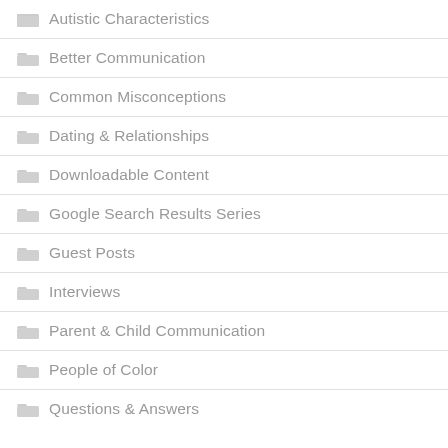Autistic Characteristics
Better Communication
Common Misconceptions
Dating & Relationships
Downloadable Content
Google Search Results Series
Guest Posts
Interviews
Parent & Child Communication
People of Color
Questions & Answers